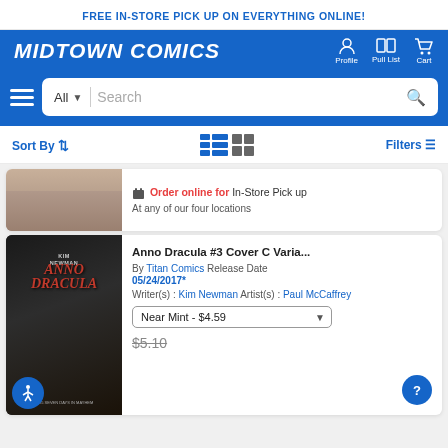FREE IN-STORE PICK UP ON EVERYTHING ONLINE!
[Figure (logo): Midtown Comics logo in white italic bold text on blue navbar with Profile, Pull List, Cart icons]
[Figure (screenshot): Search bar with All dropdown and Search placeholder and magnifier icon]
Sort By  Filters
[Figure (screenshot): List view and grid view toggle icons]
Order online for In-Store Pick up
At any of our four locations
Anno Dracula #3 Cover C Varia...
By Titan Comics Release Date 05/24/2017*
Writer(s) : Kim Newman Artist(s) : Paul McCaffrey
Near Mint - $4.59
$5.10
[Figure (photo): Anno Dracula #3 comic book cover showing vampire characters in dark gothic illustration]